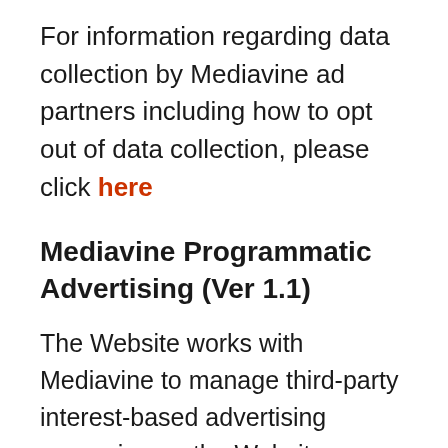For information regarding data collection by Mediavine ad partners including how to opt out of data collection, please click here
Mediavine Programmatic Advertising (Ver 1.1)
The Website works with Mediavine to manage third-party interest-based advertising appearing on the Website. Mediavine serves content and advertisements when you visit the Website, which may use first